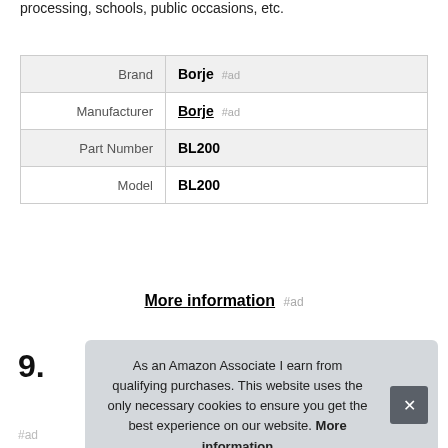processing, schools, public occasions, etc.
| Brand | Borje #ad |
| Manufacturer | Borje #ad |
| Part Number | BL200 |
| Model | BL200 |
More information #ad
9.
As an Amazon Associate I earn from qualifying purchases. This website uses the only necessary cookies to ensure you get the best experience on our website. More information
#ad